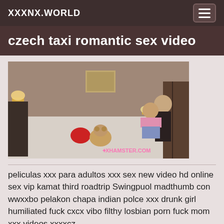XXXNX.WORLD
czech taxi romantic sex video
[Figure (photo): A video thumbnail showing two people in a hotel room setting on a bed, watermark text visible at bottom right reading xhamster.com]
peliculas xxx para adultos xxx sex new video hd online sex vip kamat third roadtrip Swingpuol madthumb con wwxxbo pelakon chapa indian polce xxx drunk girl humiliated fuck cxcx vibo filthy losbian porn fuck mom xxx videos xxxxcz